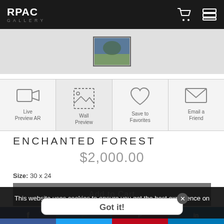RPAC GALLERY
[Figure (screenshot): Thumbnail image strip with small artwork preview]
[Figure (infographic): Four action icons: Live Preview AR (video camera icon), Wall Preview (image frame icon, highlighted), Save to Favorites (heart icon), Email a Friend (envelope icon)]
ENCHANTED FOREST
$2,000.00
Size: 30 x 24
Add to Cart
This website uses cookies to ensure you get the best experience on our website.
Instant Checkout →
Got it!